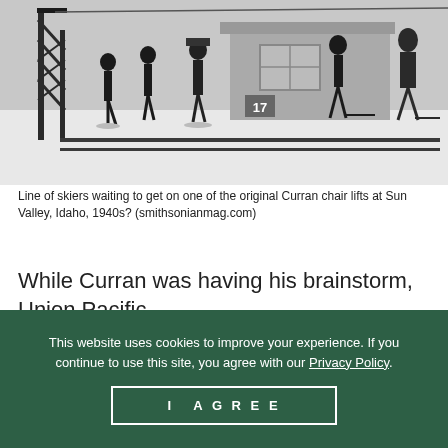[Figure (photo): Black and white historical photograph showing a line of skiers waiting to get on one of the original Curran chair lifts at Sun Valley, Idaho, 1940s. A metal lift tower structure is visible on the left, and a small building is in the background.]
Line of skiers waiting to get on one of the original Curran chair lifts at Sun Valley, Idaho, 1940s? (smithsonianmag.com)
While Curran was having his brainstorm, Union Pacific
This website uses cookies to improve your experience. If you continue to use this site, you agree with our Privacy Policy.